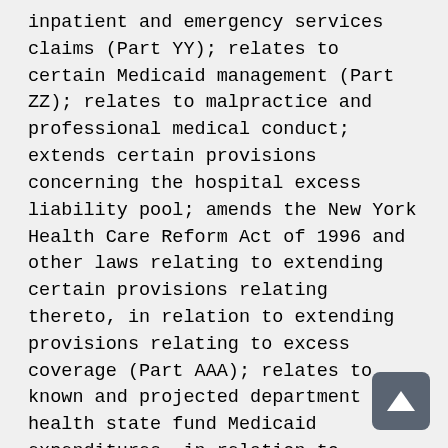inpatient and emergency services claims (Part YY); relates to certain Medicaid management (Part ZZ); relates to malpractice and professional medical conduct; extends certain provisions concerning the hospital excess liability pool; amends the New York Health Care Reform Act of 1996 and other laws relating to extending certain provisions relating thereto, in relation to extending provisions relating to excess coverage (Part AAA); relates to known and projected department of health state fund Medicaid expenditures, in relation to extending the Medicaid global cap (Part CCC); relates to capping cost sharing for insulin (Part DDD); relates to the